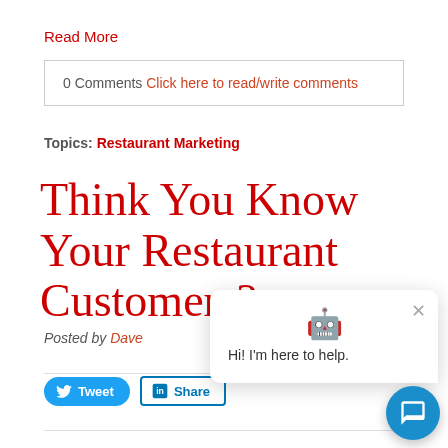Read More
0 Comments Click here to read/write comments
Topics: Restaurant Marketing
Think You Know Your Restaurant Customers?
Posted by Dave
[Figure (screenshot): Tweet and LinkedIn Share social buttons]
[Figure (screenshot): Chatbot popup with robot icon and text: Hi! I'm here to help. With close X button and chat FAB button.]